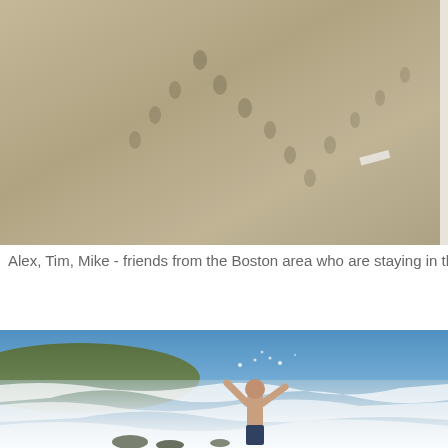[Figure (photo): Aerial/ground-level view of sandy beach with footprints in the sand]
Alex, Tim, Mike - friends from the Boston area who are staying in th
[Figure (photo): A shirtless man with arms raised playing in ocean waves on a beach, blue sky in background with green hills visible]